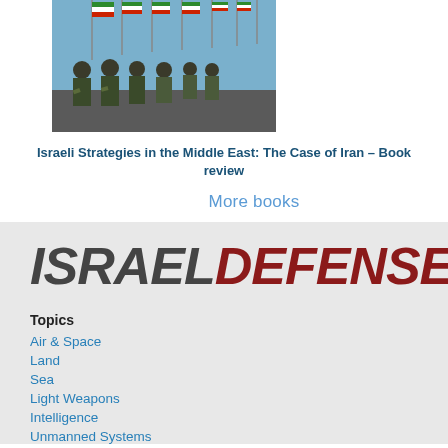[Figure (photo): Military officers in uniform marching in formation with Iranian flags displayed on poles in the background against a blue sky.]
Israeli Strategies in the Middle East: The Case of Iran – Book review
More books
[Figure (logo): Israel Defense logo in bold italic text, ISRAEL in dark gray and DEFENSE in dark red.]
Topics
Air & Space
Land
Sea
Light Weapons
Intelligence
Unmanned Systems